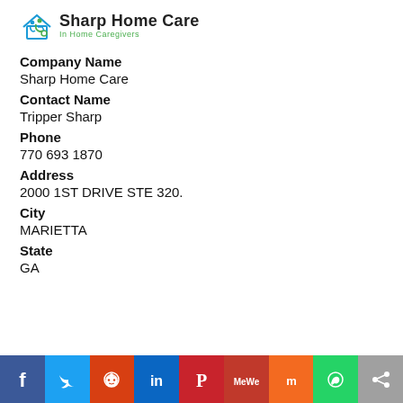[Figure (logo): Sharp Home Care logo with person in wheelchair icon and text 'Sharp Home Care In Home Caregivers']
Company Name
Sharp Home Care
Contact Name
Tripper Sharp
Phone
770 693 1870
Address
2000 1ST DRIVE STE 320.
City
MARIETTA
State
GA
[Figure (infographic): Social sharing bar with buttons for Facebook, Twitter, Reddit, LinkedIn, Pinterest, MeWe, Mix, WhatsApp, Share]